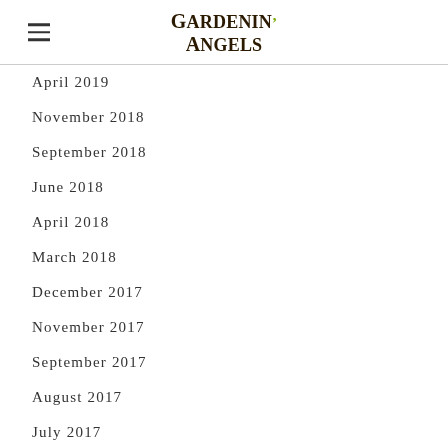Gardenin' Angels
April 2019
November 2018
September 2018
June 2018
April 2018
March 2018
December 2017
November 2017
September 2017
August 2017
July 2017
June 2017